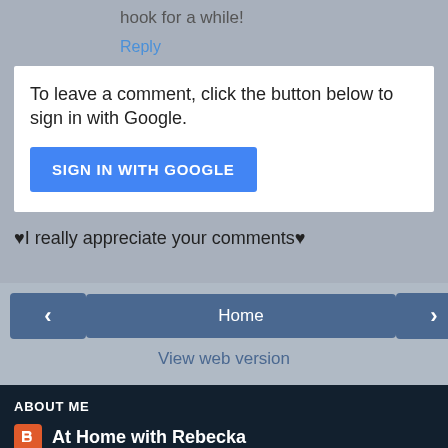hook for a while!
Reply
To leave a comment, click the button below to sign in with Google.
SIGN IN WITH GOOGLE
♥I really appreciate your comments♥
‹
Home
›
View web version
ABOUT ME
At Home with Rebecka
View my complete profile
Powered by Blogger.